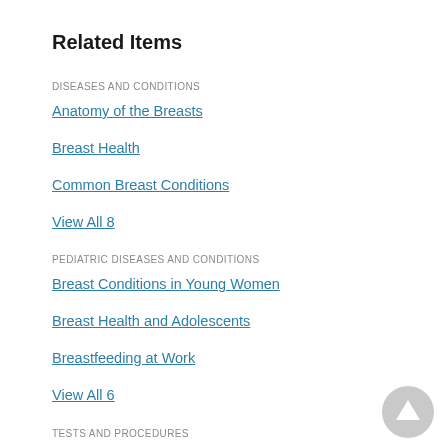Related Items
DISEASES AND CONDITIONS
Anatomy of the Breasts
Breast Health
Common Breast Conditions
View All 8
PEDIATRIC DISEASES AND CONDITIONS
Breast Conditions in Young Women
Breast Health and Adolescents
Breastfeeding at Work
View All 6
TESTS AND PROCEDURES